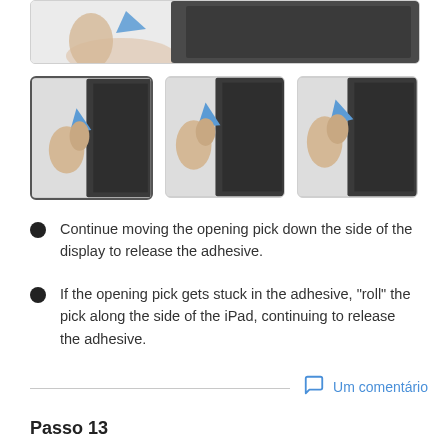[Figure (photo): Top partial image showing a hand using a blue opening pick on the edge of an iPad display]
[Figure (photo): Three thumbnail photos showing steps of moving an opening pick along the side of an iPad display to release adhesive]
Continue moving the opening pick down the side of the display to release the adhesive.
If the opening pick gets stuck in the adhesive, "roll" the pick along the side of the iPad, continuing to release the adhesive.
Um comentário
Passo 13